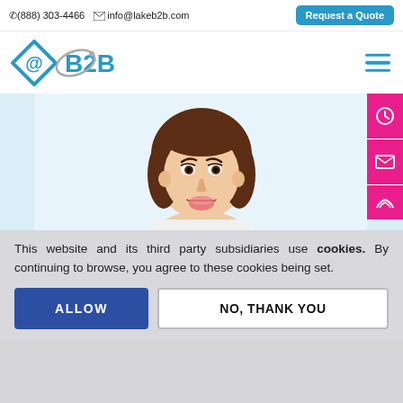☎(888) 303-4466  ✉ info@lakeb2b.com  [Request a Quote]
[Figure (logo): LakeB2B logo: blue diamond with @ symbol and B2B text with orbital arc]
[Figure (illustration): Illustrated female avatar with brown bob haircut, smiling, on light blue background. Pink side buttons with clock and envelope icons on the right edge.]
This website and its third party subsidiaries use cookies. By continuing to browse, you agree to these cookies being set.
ALLOW  NO, THANK YOU